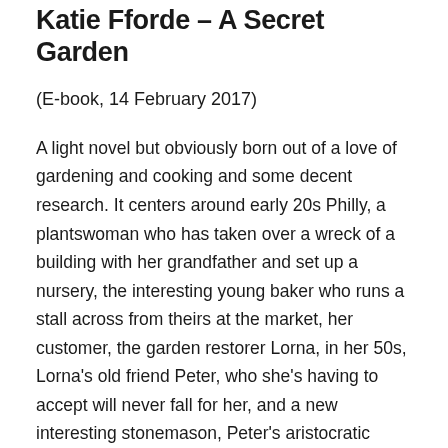Katie Fforde – A Secret Garden
(E-book, 14 February 2017)
A light novel but obviously born out of a love of gardening and cooking and some decent research. It centers around early 20s Philly, a plantswoman who has taken over a wreck of a building with her grandfather and set up a nursery, the interesting young baker who runs a stall across from theirs at the market, her customer, the garden restorer Lorna, in her 50s, Lorna's old friend Peter, who she's having to accept will never fall for her, and a new interesting stonemason, Peter's aristocratic mother and the lady who Peter has fallen for, who has big plans to make him spend more money on his country estate.
It bubbles along very nicely and competently, with the